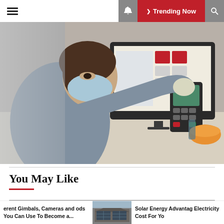☰ Trending Now
[Figure (photo): A woman wearing a face mask and gloves working at a retail checkout counter with a point-of-sale computer monitor and card reader terminal]
You May Like
[Figure (photo): Gray placeholder carousel image]
erent Gimbals, Cameras and ods You Can Use To Become a...
[Figure (photo): Thumbnail of solar panels on a rooftop]
Solar Energy Advantag Electricity Cost For Yo